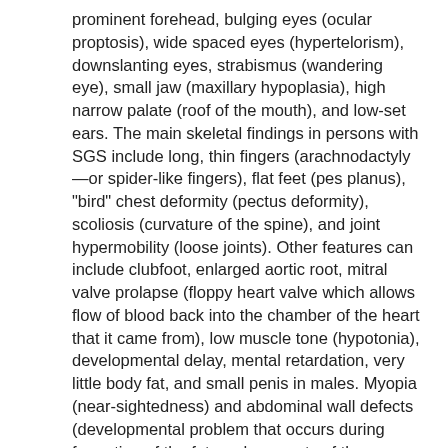prominent forehead, bulging eyes (ocular proptosis), wide spaced eyes (hypertelorism), downslanting eyes, strabismus (wandering eye), small jaw (maxillary hypoplasia), high narrow palate (roof of the mouth), and low-set ears. The main skeletal findings in persons with SGS include long, thin fingers (arachnodactyly—or spider-like fingers), flat feet (pes planus), "bird" chest deformity (pectus deformity), scoliosis (curvature of the spine), and joint hypermobility (loose joints). Other features can include clubfoot, enlarged aortic root, mitral valve prolapse (floppy heart valve which allows flow of blood back into the chamber of the heart that it came from), low muscle tone (hypotonia), developmental delay, mental retardation, very little body fat, and small penis in males. Myopia (near-sightedness) and abdominal wall defects (developmental problem that occurs during formation of the fetus where parts of the intestine or other organs can protrude outside of the body; usually surgically correctable) can also occur. Radiologic findings include hydrocephalus (water on the brain), certain brain malformations (Chiari-I malformation or dilatation of the lateral ventricles), abnormalities in the first and second cervical vertebrae (vertebrae in the neck), square shaped vertebrae, thin ribs, thinning of the bones, and craniofacial abnormalities.